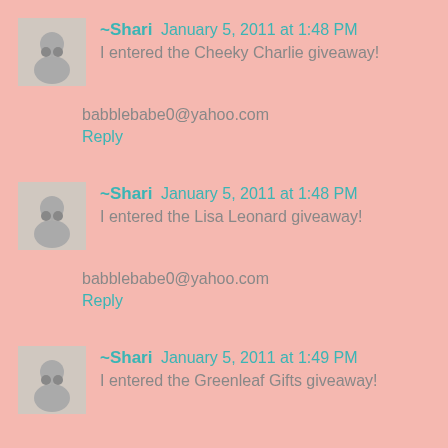~Shari January 5, 2011 at 1:48 PM
I entered the Cheeky Charlie giveaway!
babblebabe0@yahoo.com
Reply
~Shari January 5, 2011 at 1:48 PM
I entered the Lisa Leonard giveaway!
babblebabe0@yahoo.com
Reply
~Shari January 5, 2011 at 1:49 PM
I entered the Greenleaf Gifts giveaway!